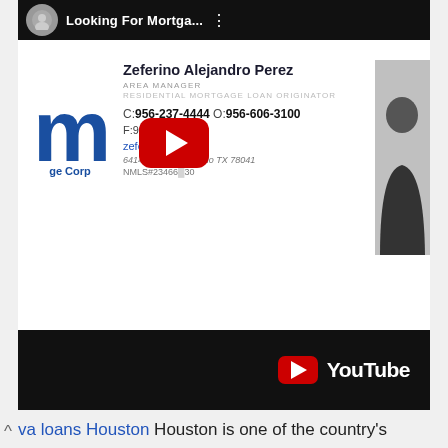[Figure (screenshot): YouTube video embed top bar showing 'Looking For Mortga...' title with video thumbnail icon on dark background]
[Figure (screenshot): Business card for Zeferino Alejandro Perez, Area Manager, Residential Mortgage Loan Originator. C: 956-237-4444 O: 956-606-3100 F: 956-284-01... zefe@icity...m, 6414 McPher...redo TX 78041, NMLS#23466...30. Includes company logo with letter M and photo of person. YouTube play button overlay on top.]
[Figure (screenshot): YouTube logo/branding bar on dark background at bottom of embed]
va loans Houston Houston is one of the country's largest cities & more than 300,000 Veterans call Houston home. Qualifying For Houston VA loans and Houston VA Loan